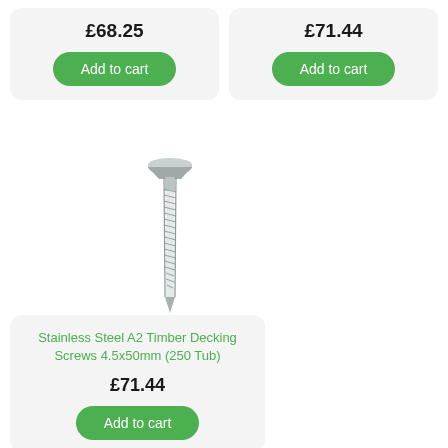£68.25
Add to cart
£71.44
Add to cart
[Figure (photo): A stainless steel timber decking screw, shown vertically with a flat countersunk head at top and spiral threaded shaft.]
Stainless Steel A2 Timber Decking Screws 4.5x50mm (250 Tub)
£71.44
Add to cart